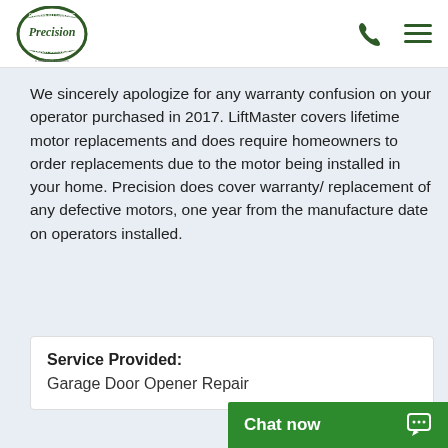Precision Door Service – Overhead Garage Door Service, a Neighborly company
We sincerely apologize for any warranty confusion on your operator purchased in 2017. LiftMaster covers lifetime motor replacements and does require homeowners to order replacements due to the motor being installed in your home. Precision does cover warranty/ replacement of any defective motors, one year from the manufacture date on operators installed.
Service Provided: Garage Door Opener Repair
Chat now